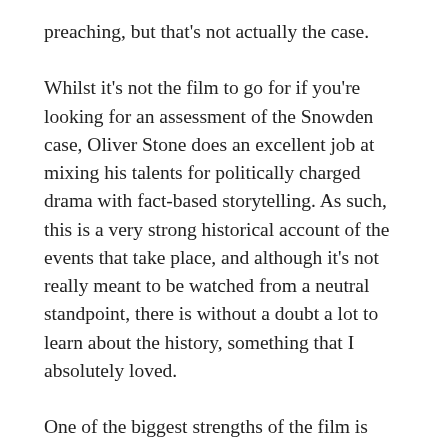preaching, but that's not actually the case.
Whilst it's not the film to go for if you're looking for an assessment of the Snowden case, Oliver Stone does an excellent job at mixing his talents for politically charged drama with fact-based storytelling. As such, this is a very strong historical account of the events that take place, and although it's not really meant to be watched from a neutral standpoint, there is without a doubt a lot to learn about the history, something that I absolutely loved.
One of the biggest strengths of the film is how surprisingly quickly it moves through the events at hand. You could say that the first act is a little slower, but the final two-thirds are pretty intense, giving this more of a thriller-like vibe instead of a plain old biopic. But that's one of the reasons that it's so engrossing to watch, as it keeps you on your toes with its